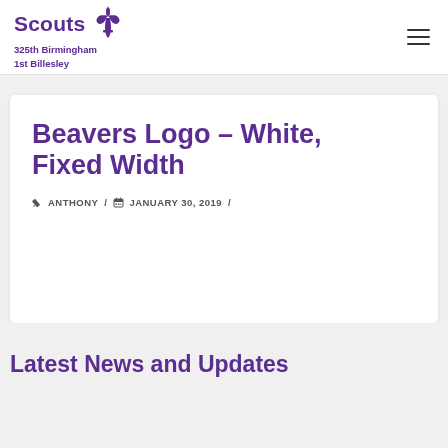Scouts 325th Birmingham 1st Billesley
Beavers Logo – White, Fixed Width
ANTHONY / JANUARY 30, 2019 /
Latest News and Updates